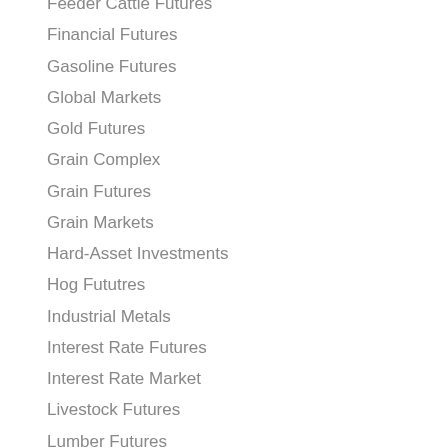Feeder Cattle Futures
Financial Futures
Gasoline Futures
Global Markets
Gold Futures
Grain Complex
Grain Futures
Grain Markets
Hard-Asset Investments
Hog Fututres
Industrial Metals
Interest Rate Futures
Interest Rate Market
Livestock Futures
Lumber Futures